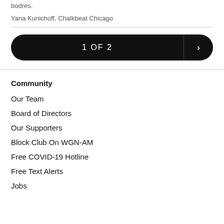bodres.
Yana Kunichoff, Chalkbeat Chicago
1 OF 2
Community
Our Team
Board of Directors
Our Supporters
Block Club On WGN-AM
Free COVID-19 Hotline
Free Text Alerts
Jobs